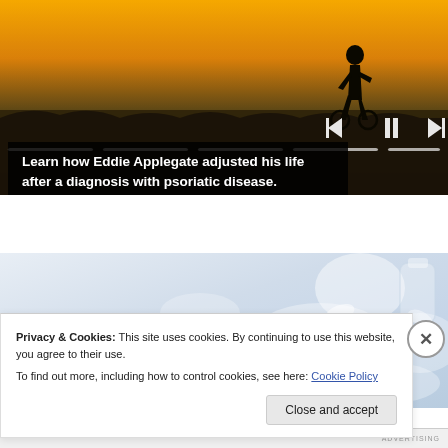[Figure (photo): Video player showing a silhouette of a person (possibly in a wheelchair) against a sunset/golden hour sky over a field. Transport controls (skip back, pause, skip forward) visible. Progress bar with multiple segments shown below.]
Learn how Eddie Applegate adjusted his life after a diagnosis with psoriatic disease.
[Figure (photo): Close-up photo of pills and medication bottles with a light blue/white color palette.]
Privacy & Cookies: This site uses cookies. By continuing to use this website, you agree to their use.
To find out more, including how to control cookies, see here: Cookie Policy